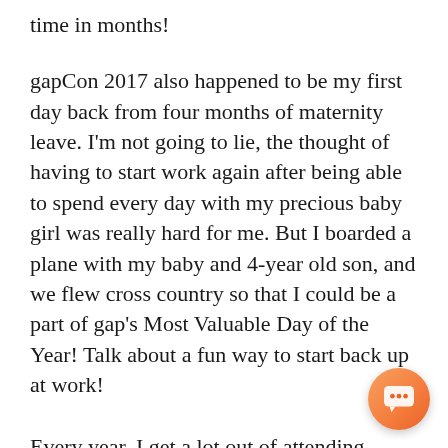time in months!
gapCon 2017 also happened to be my first day back from four months of maternity leave. I'm not going to lie, the thought of having to start work again after being able to spend every day with my precious baby girl was really hard for me. But I boarded a plane with my baby and 4-year old son, and we flew cross country so that I could be a part of gap's Most Valuable Day of the Year! Talk about a fun way to start back up at work!
Every year, I get a lot out of attending gapCon. But this year, I got even more. Here are a f... of the major reasons why this year's event w... so special for me.